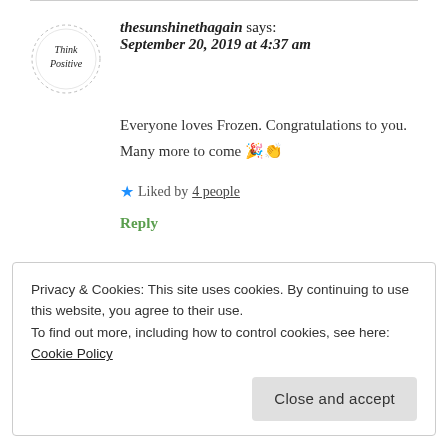[Figure (logo): Think Positive circular logo with dotted border and handwritten script text]
thesunshinethagain says:
September 20, 2019 at 4:37 am
Everyone loves Frozen. Congratulations to you. Many more to come 🎉👏
★ Liked by 4 people
Reply
Privacy & Cookies: This site uses cookies. By continuing to use this website, you agree to their use.
To find out more, including how to control cookies, see here: Cookie Policy